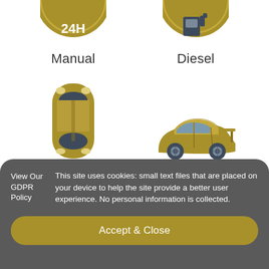[Figure (illustration): Gold circular badge icon with '24H' text, partially cropped at top]
Manual
[Figure (illustration): Gold circular badge icon with fuel/diesel symbol, partially cropped at top right]
Diesel
[Figure (illustration): Gold top-down view of a car icon]
[Figure (illustration): Gold side-view sports car with spoiler icon]
Bronze
5 doors
View Our GDPR Policy
This site uses cookies: small text files that are placed on your device to help the site provide a better user experience. No personal information is collected.
Accept & Close